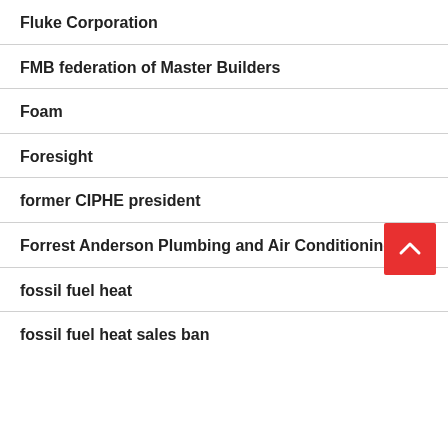Fluke Corporation
FMB federation of Master Builders
Foam
Foresight
former CIPHE president
Forrest Anderson Plumbing and Air Conditioning Inc.
fossil fuel heat
fossil fuel heat sales ban